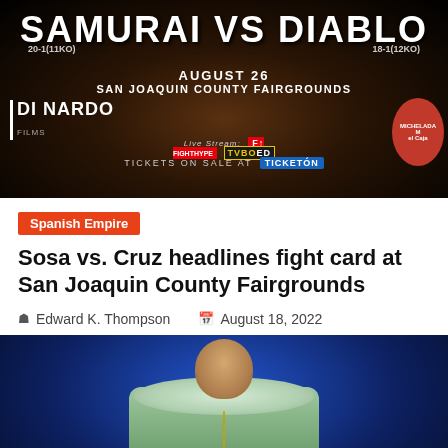[Figure (photo): Boxing event promotional banner: 'Samurai vs Diablo', August 26, San Joaquin County Fairgrounds. Shows fighter records 20-1(11KO) and 18-1(12KO). Di Nardo branding on left. Live stream via FightHype and TVBOLED. Tickets on sale at Ticketon.]
Spanish Empire
Sosa vs. Cruz headlines fight card at San Joaquin County Fairgrounds
Edward K. Thompson   August 18, 2022
[Figure (photo): A boxer standing against a blue-lit background, wearing a fur-trimmed light green jacket with chains, looking directly at the camera with a serious expression.]